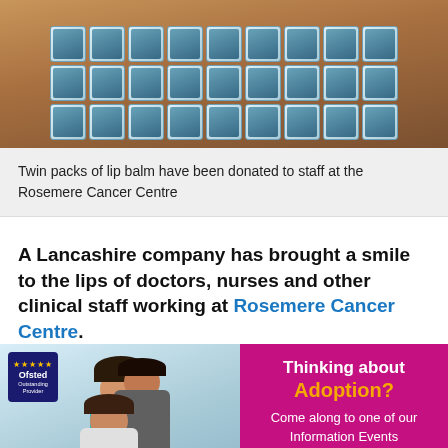[Figure (photo): Overhead view of a cardboard box containing multiple twin packs of lip balm products arranged in rows]
Twin packs of lip balm have been donated to staff at the Rosemere Cancer Centre
A Lancashire company has brought a smile to the lips of doctors, nurses and other clinical staff working at Rosemere Cancer Centre.
[Figure (photo): Children smiling and playing together, with an Ofsted Outstanding Provider badge visible in the top left corner]
[Figure (infographic): Pink background advertisement reading: Thinking about Adoption? Come along to one of our Information Events EVERY 1ST & 3RD TUESDAY OF THE...]